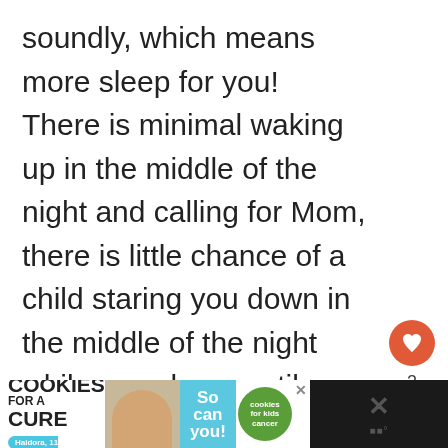soundly, which means more sleep for you!  There is minimal waking up in the middle of the night and calling for Mom, there is little chance of a child staring you down in the middle of the night while you sleep, until you wake up because you feel like someone is watching you (my stepdaughter used to do this and it freaked me out!)
[Figure (screenshot): Advertisement banner at the bottom: 'I Bake COOKIES For A CURE' with image of child, 'So can you!' text, cookies for kids cancer logo, and close/dismiss buttons. Dark right panel with X and audio icon.]